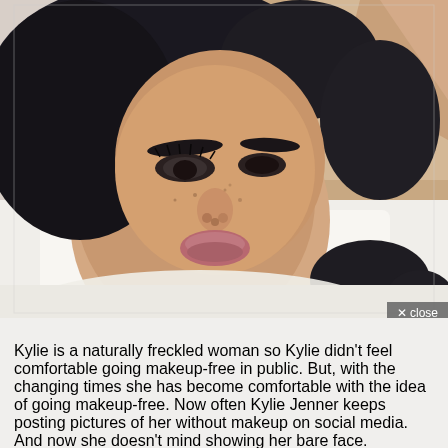[Figure (photo): A young woman with dark hair and freckles lying down on white bedding, wearing a light-colored top, photographed makeup-free in a candid selfie style.]
Kylie is a naturally freckled woman so Kylie didn't feel comfortable going makeup-free in public. But, with the changing times she has become comfortable with the idea of going makeup-free. Now often Kylie Jenner keeps posting pictures of her without makeup on social media. And now she doesn't mind showing her bare face.